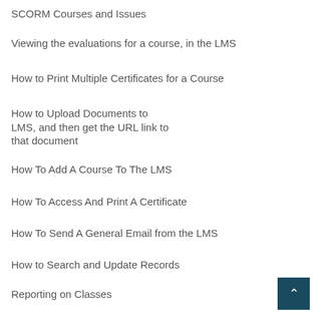SCORM Courses and Issues
Viewing the evaluations for a course, in the LMS
How to Print Multiple Certificates for a Course
How to Upload Documents to LMS, and then get the URL link to that document
How To Add A Course To The LMS
How To Access And Print A Certificate
How To Send A General Email from the LMS
How to Search and Update Records
Reporting on Classes